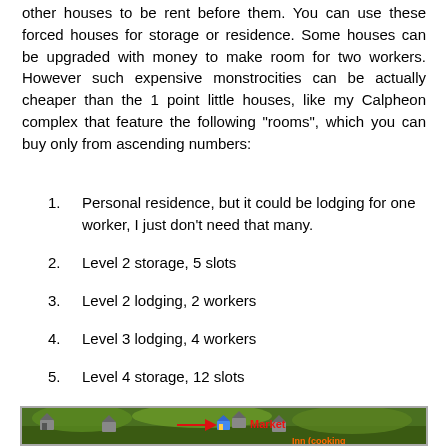other houses to be rent before them. You can use these forced houses for storage or residence. Some houses can be upgraded with money to make room for two workers. However such expensive monstrocities can be actually cheaper than the 1 point little houses, like my Calpheon complex that feature the following "rooms", which you can buy only from ascending numbers:
1. Personal residence, but it could be lodging for one worker, I just don't need that many.
2. Level 2 storage, 5 slots
3. Level 2 lodging, 2 workers
4. Level 3 lodging, 4 workers
5. Level 4 storage, 12 slots
[Figure (screenshot): Game screenshot showing a town map with house icons, a Market label with red arrow, and Inn (cooking) label in orange at the bottom right.]